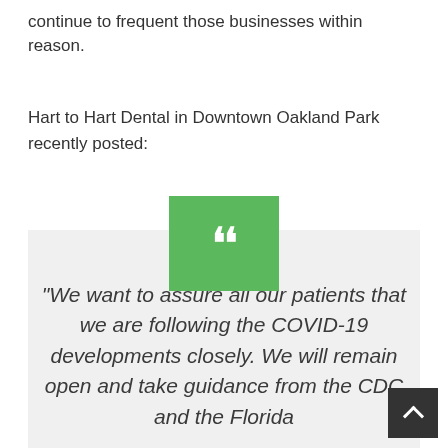continue to frequent those businesses within reason.
Hart to Hart Dental in Downtown Oakland Park recently posted:
[Figure (other): Green square icon with white quotation mark symbol]
“We want to assure all our patients that we are following the COVID-19 developments closely. We will remain open and take guidance from the CDC and the Florida